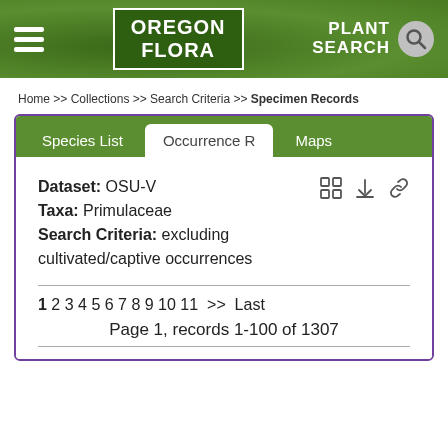OREGON FLORA | PLANT SEARCH
Home >> Collections >> Search Criteria >> Specimen Records
Species List | Occurrence R | Maps
Dataset: OSU-V
Taxa: Primulaceae
Search Criteria: excluding cultivated/captive occurrences
1 2 3 4 5 6 7 8 9 10 11  >>  Last
Page 1, records 1-100 of 1307